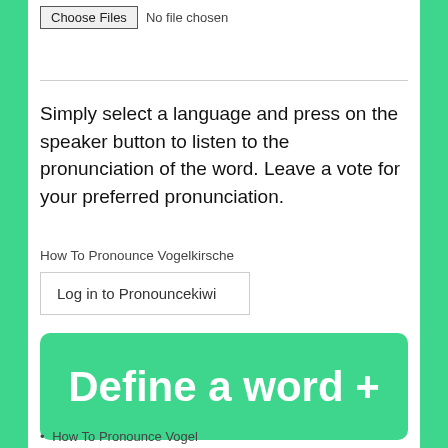[Figure (screenshot): File input button showing 'Choose Files' button and 'No file chosen' text]
Simply select a language and press on the speaker button to listen to the pronunciation of the word. Leave a vote for your preferred pronunciation.
How To Pronounce Vogelkirsche
[Figure (screenshot): Button: Log in to Pronouncekiwi]
[Figure (screenshot): Green button: Define a word +]
• How To Pronounce Vogel